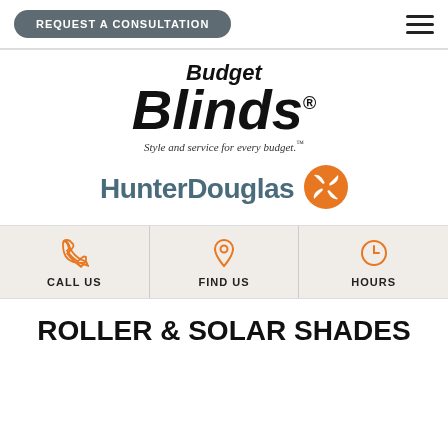REQUEST A CONSULTATION
[Figure (logo): Budget Blinds logo with tagline 'Style and service for every budget.']
[Figure (logo): HunterDouglas logo with orange pinwheel icon]
CALL US | FIND US | HOURS
ROLLER & SOLAR SHADES